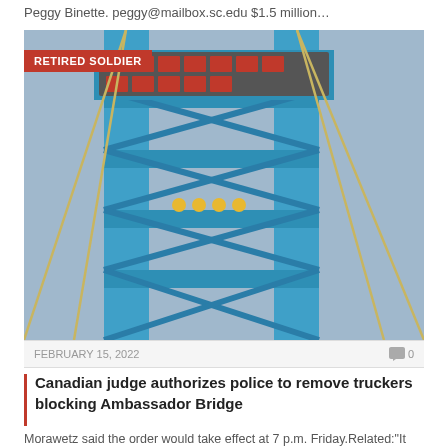Peggy Binette. peggy@mailbox.sc.edu $1.5 million…
[Figure (photo): Close-up photo of the Ambassador Bridge tower, a blue steel bridge structure with red letter signage reading 'AMBASSADOR BRIDGE' visible at top, shot from below against a gray-blue sky. A red badge overlay reads 'RETIRED SOLDIER'.]
FEBRUARY 15, 2022
Canadian judge authorizes police to remove truckers blocking Ambassador Bridge
Morawetz said the order would take effect at 7 p.m. Friday.Related:"It